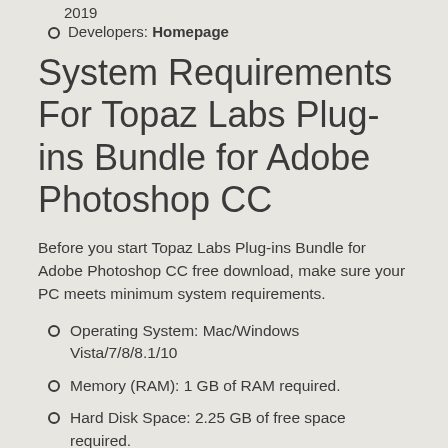2019
Developers: Homepage
System Requirements For Topaz Labs Plug-ins Bundle for Adobe Photoshop CC
Before you start Topaz Labs Plug-ins Bundle for Adobe Photoshop CC free download, make sure your PC meets minimum system requirements.
Operating System:  Mac/Windows Vista/7/8/8.1/10
Memory (RAM): 1 GB of RAM required.
Hard Disk Space: 2.25 GB of free space required.
Processor: Intel Pentium 4 or later.